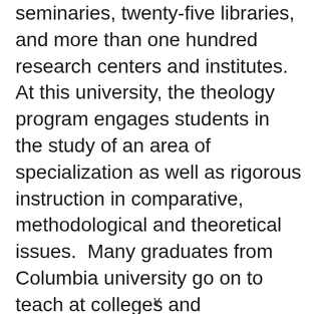seminaries, twenty-five libraries, and more than one hundred research centers and institutes. At this university, the theology program engages students in the study of an area of specialization as well as rigorous instruction in comparative, methodological and theoretical issues.  Many graduates from Columbia university go on to teach at colleges and universities throughout the world.
v